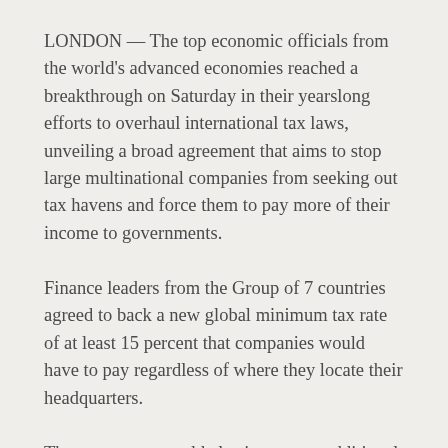LONDON — The top economic officials from the world's advanced economies reached a breakthrough on Saturday in their yearslong efforts to overhaul international tax laws, unveiling a broad agreement that aims to stop large multinational companies from seeking out tax havens and force them to pay more of their income to governments.
Finance leaders from the Group of 7 countries agreed to back a new global minimum tax rate of at least 15 percent that companies would have to pay regardless of where they locate their headquarters.
The agreement would also impose an additional tax on some of the largest multinational companies, potentially forcing technology giants like Amazon, Facebook and Google as well as other big global